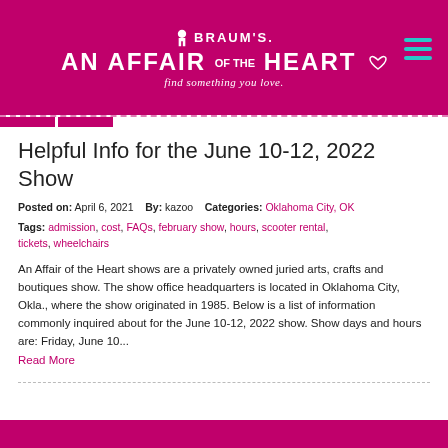[Figure (logo): Braum's An Affair of the Heart banner logo with tagline 'find something you love.' on magenta/pink background with hamburger menu icon]
Helpful Info for the June 10-12, 2022 Show
Posted on: April 6, 2021   By: kazoo   Categories: Oklahoma City, OK   Tags: admission, cost, FAQs, february show, hours, scooter rental, tickets, wheelchairs
An Affair of the Heart shows are a privately owned juried arts, crafts and boutiques show. The show office headquarters is located in Oklahoma City, Okla., where the show originated in 1985. Below is a list of information commonly inquired about for the June 10-12, 2022 show. Show days and hours are: Friday, June 10... Read More